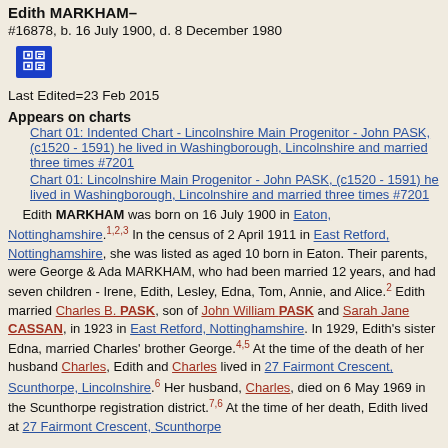Edith MARKHAM–
#16878, b. 16 July 1900, d. 8 December 1980
Last Edited=23 Feb 2015
Appears on charts
Chart 01: Indented Chart - Lincolnshire Main Progenitor - John PASK, (c1520 - 1591) he lived in Washingborough, Lincolnshire and married three times #7201
Chart 01: Lincolnshire Main Progenitor - John PASK, (c1520 - 1591) he lived in Washingborough, Lincolnshire and married three times #7201
Edith MARKHAM was born on 16 July 1900 in Eaton, Nottinghamshire.1,2,3 In the census of 2 April 1911 in East Retford, Nottinghamshire, she was listed as aged 10 born in Eaton. Their parents, were George & Ada MARKHAM, who had been married 12 years, and had seven children - Irene, Edith, Lesley, Edna, Tom, Annie, and Alice.2 Edith married Charles B. PASK, son of John William PASK and Sarah Jane CASSAN, in 1923 in East Retford, Nottinghamshire. In 1929, Edith's sister Edna, married Charles' brother George.4,5 At the time of the death of her husband Charles, Edith and Charles lived in 27 Fairmont Crescent, Scunthorpe, Lincolnshire.6 Her husband, Charles, died on 6 May 1969 in the Scunthorpe registration district.7,6 At the time of her death, Edith lived at 27 Fairmont Crescent, Scunthorpe